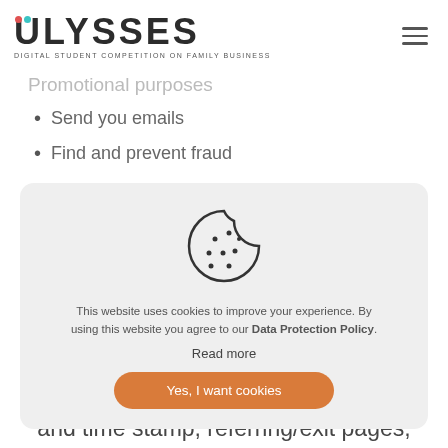ULYSSES - DIGITAL STUDENT COMPETITION ON FAMILY BUSINESS
Promotional purposes
Send you emails
Find and prevent fraud
[Figure (illustration): Cookie icon - a round cookie with a bite taken out and chocolate chip dots, drawn in outline style]
This website uses cookies to improve your experience. By using this website you agree to our Data Protection Policy.
Read more
Yes, I want cookies
and time stamp, referring/exit pages,